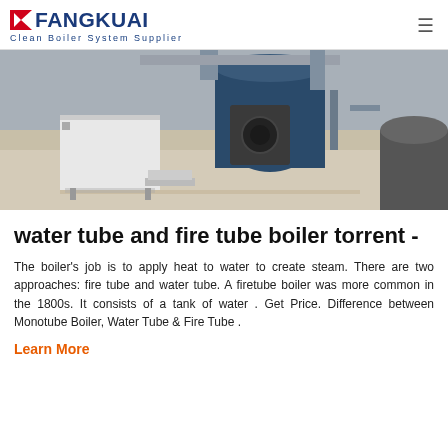FANGKUAI - Clean Boiler System Supplier
[Figure (photo): Industrial boiler room with large blue cylindrical boiler unit and associated piping and equipment on a factory floor]
water tube and fire tube boiler torrent -
The boiler's job is to apply heat to water to create steam. There are two approaches: fire tube and water tube. A firetube boiler was more common in the 1800s. It consists of a tank of water . Get Price. Difference between Monotube Boiler, Water Tube & Fire Tube .
Learn More